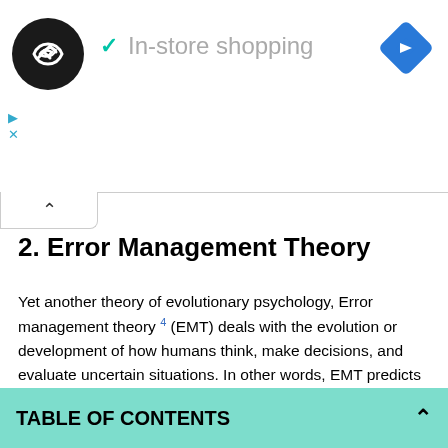[Figure (screenshot): Ad banner with circular logo, checkmark, 'In-store shopping' text, and blue navigation diamond icon]
2. Error Management Theory
Yet another theory of evolutionary psychology, Error management theory 4 (EMT) deals with the evolution or development of how humans think, make decisions, and evaluate uncertain situations. In other words, EMT predicts that whenever an uncertain situation arises, humans will psychologically adapt to prefer choices that minimize the cost of errors. This theory of evolutionary psychology can be applied to many different areas of our lives. However, a specific example of it is the visual descent illusion. Have you
TABLE OF CONTENTS